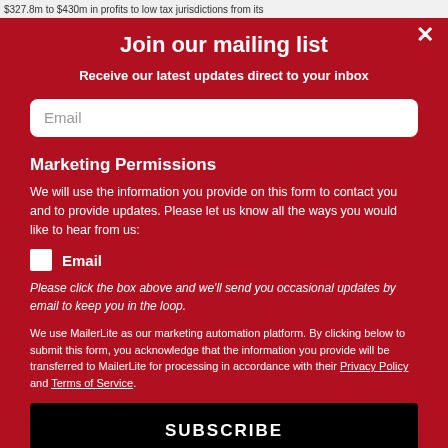$327.8m to $430m in profits to low tax jurisdictions from its
Join our mailing list
Receive our latest updates direct to your inbox
Email
Marketing Permissions
We will use the information you provide on this form to contact you and to provide updates. Please let us know all the ways you would like to hear from us:
Email
Please click the box above and we'll send you occasional updates by email to keep you in the loop.
We use MailerLite as our marketing automation platform. By clicking below to submit this form, you acknowledge that the information you provide will be transferred to MailerLite for processing in accordance with their Privacy Policy and Terms of Service.
SUBSCRIBE